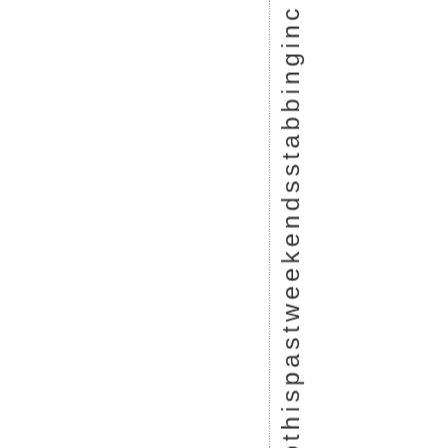n t o t h i s p a s t w e e k e n d s s t a b b i n g i n c